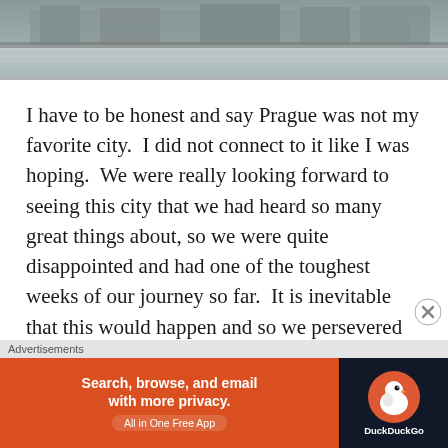[Figure (photo): Partial view of a river or waterfront scene, cropped at top of page]
I have to be honest and say Prague was not my favorite city.  I did not connect to it like I was hoping.  We were really looking forward to seeing this city that we had heard so many great things about, so we were quite disappointed and had one of the toughest weeks of our journey so far.  It is inevitable that this would happen and so we persevered and kept on.  I think a lot of lessons were learned this week.  Maybe it was just the timing that was off, as it was cold and
[Figure (screenshot): DuckDuckGo advertisement banner: Search, browse, and email with more privacy. All in One Free App. DuckDuckGo logo on dark background.]